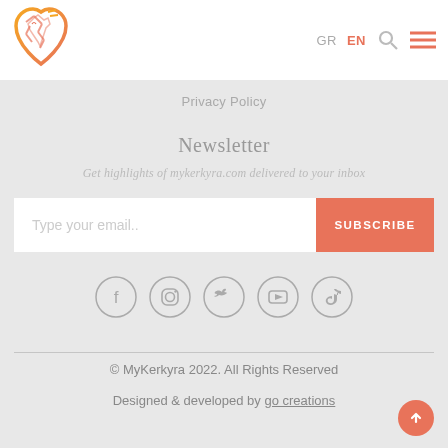[Figure (logo): MyKerkyra heart-shaped logo in orange and yellow gradient]
GR  EN  [search icon]  [hamburger menu]
Privacy Policy
Newsletter
Get highlights of mykerkyra.com delivered to your inbox
Type your email..   SUBSCRIBE
[Figure (other): Social media icons in circles: Facebook, Instagram, Twitter, YouTube, TikTok]
© MyKerkyra 2022. All Rights Reserved
Designed & developed by go creations